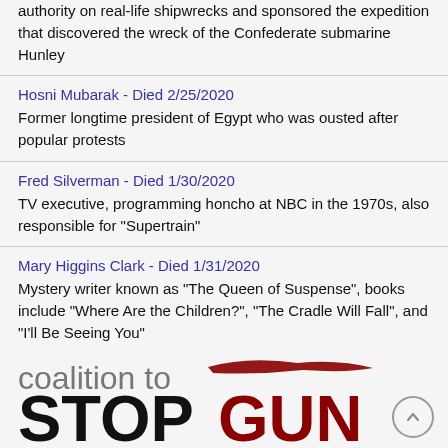authority on real-life shipwrecks and sponsored the expedition that discovered the wreck of the Confederate submarine Hunley
Hosni Mubarak - Died 2/25/2020
Former longtime president of Egypt who was ousted after popular protests
Fred Silverman - Died 1/30/2020
TV executive, programming honcho at NBC in the 1970s, also responsible for "Supertrain"
Mary Higgins Clark - Died 1/31/2020
Mystery writer known as "The Queen of Suspense", books include "Where Are the Children?", "The Cradle Will Fall", and "I'll Be Seeing You"
[Figure (logo): Coalition to Stop Gun Violence logo with stylized red brushstroke above bold STOPGUN text in black and dark red]